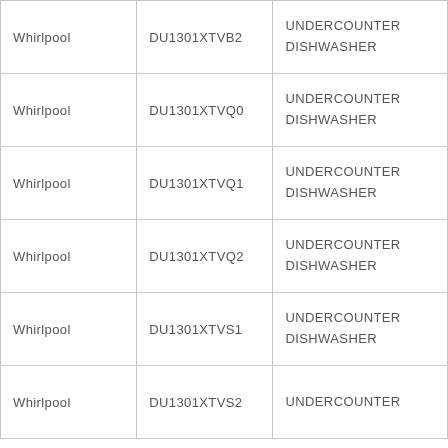| Whirlpool | DU1301XTVB2 | UNDERCOUNTER DISHWASHER |
| Whirlpool | DU1301XTVQ0 | UNDERCOUNTER DISHWASHER |
| Whirlpool | DU1301XTVQ1 | UNDERCOUNTER DISHWASHER |
| Whirlpool | DU1301XTVQ2 | UNDERCOUNTER DISHWASHER |
| Whirlpool | DU1301XTVS1 | UNDERCOUNTER DISHWASHER |
| Whirlpool | DU1301XTVS2 | UNDERCOUNTER |